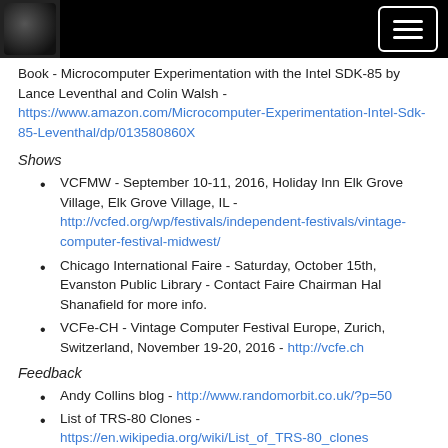[Logo and hamburger menu]
Book - Microcomputer Experimentation with the Intel SDK-85 by Lance Leventhal and Colin Walsh - https://www.amazon.com/Microcomputer-Experimentation-Intel-Sdk-85-Leventhal/dp/013580860X
Shows
VCFMW - September 10-11, 2016, Holiday Inn Elk Grove Village, Elk Grove Village, IL - http://vcfed.org/wp/festivals/independent-festivals/vintage-computer-festival-midwest/
Chicago International Faire - Saturday, October 15th, Evanston Public Library - Contact Faire Chairman Hal Shanafield for more info.
VCFe-CH - Vintage Computer Festival Europe, Zurich, Switzerland, November 19-20, 2016 - http://vcfe.ch
Feedback
Andy Collins blog - http://www.randomorbit.co.uk/?p=50
List of TRS-80 Clones - https://en.wikipedia.org/wiki/List_of_TRS-80_clones